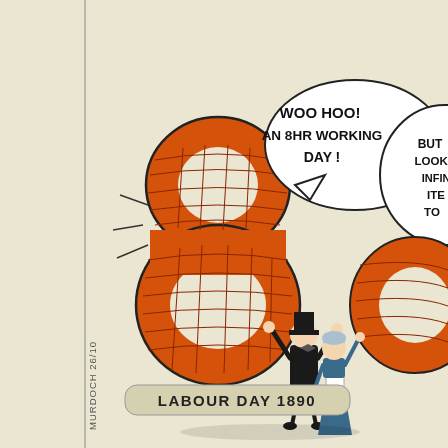SYMBOLIC
[Figure (illustration): Political cartoon showing a large brick '8' numeral with two celebrating workers (a man in top hat and tails, and a woman in apron and cap) raising their hands in celebration. A speech bubble reads 'WOO HOO! AN 8HR WORKING DAY!'. On the right edge, part of another brick numeral and a figure peering through it, with a partially visible speech bubble starting 'BUT LOOKS INFIN TO'. Cartoon is captioned 'LABOUR DAY 1890' and credited to MURDOCH 26/10.]